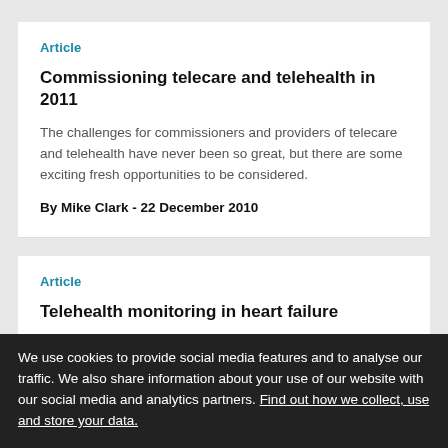Article
Commissioning telecare and telehealth in 2011
The challenges for commissioners and providers of telecare and telehealth have never been so great, but there are some exciting fresh opportunities to be considered.
By Mike Clark - 22 December 2010
Article
Telehealth monitoring in heart failure
Recently published trials on telehealth monitoring in heart failure
We use cookies to provide social media features and to analyse our traffic. We also share information about your use of our website with our social media and analytics partners. Find out how we collect, use and store your data.